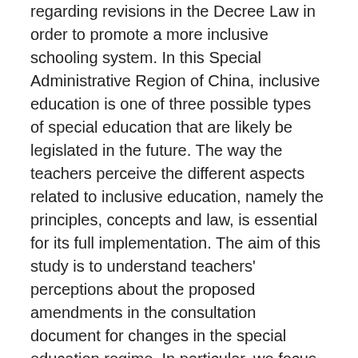regarding revisions in the Decree Law in order to promote a more inclusive schooling system. In this Special Administrative Region of China, inclusive education is one of three possible types of special education that are likely be legislated in the future. The way the teachers perceive the different aspects related to inclusive education, namely the principles, concepts and law, is essential for its full implementation. The aim of this study is to understand teachers' perceptions about the proposed amendments in the consultation document for changes in the special education regime. In particular, we focus on teachers' acceptance of the recommended role of parents, the proposed placement models and expectations for teacher training. A mixed-methods approach with a survey of a sample of 500 teachers in private schools and interviews to a sub-sample of 20 provide the data. While agreeing in principle with the majority of the proposed changes in the Decree Law, there were several reservations made